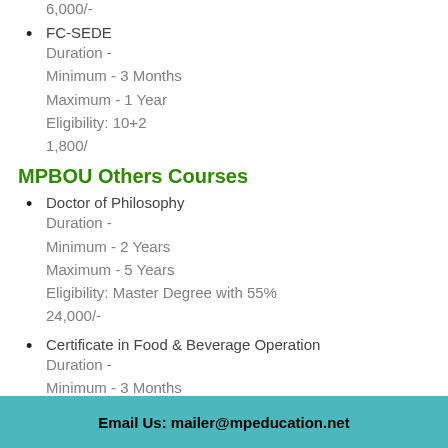6,000/-
FC-SEDE
Duration -
Minimum - 3 Months
Maximum - 1 Year
Eligibility: 10+2
1,800/
MPBOU Others Courses
Doctor of Philosophy
Duration -
Minimum - 2 Years
Maximum - 5 Years
Eligibility: Master Degree with 55%
24,000/-
Certificate in Food & Beverage Operation
Duration -
Minimum - 3 Months
Maximum - 1 Y...
Email Us: mailer@mpeducation.net